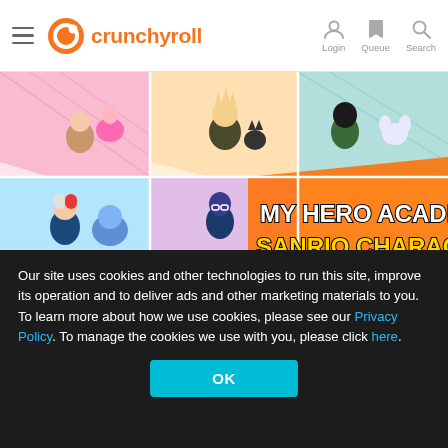crunchyroll — Login | Queue | Search
[Figure (illustration): My Hero Academia × Sanrio Characters crossover promotional artwork featuring chibi-style characters from My Hero Academia paired with Sanrio characters in colorful comic-panel grid layout. Text reads 'MY HERO ACADEMIA SANRIO CHARACTERS'.]
Our site uses cookies and other technologies to run this site, improve its operation and to deliver ads and other marketing materials to you. To learn more about how we use cookies, please see our Privacy Policy. To manage the cookies we use with you, please click here.
OK